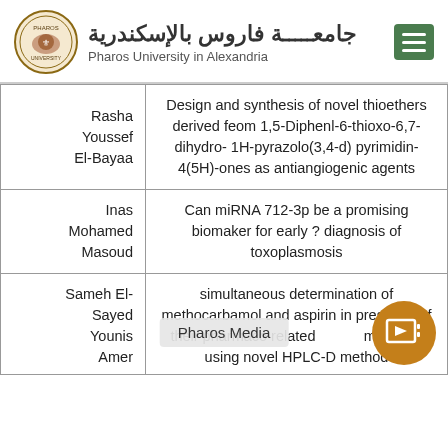Pharos University in Alexandria
| Name | Title |
| --- | --- |
| Rasha Youssef El-Bayaa | Design and synthesis of novel thioethers derived feom 1,5-Diphenl-6-thioxo-6,7-dihydro- 1H-pyrazolo(3,4-d) pyrimidin-4(5H)-ones as antiangiogenic agents |
| Inas Mohamed Masoud | Can miRNA 712-3p be a promising biomaker for early ? diagnosis of toxoplasmosis |
| Sameh El-Sayed Younis Amer | simultaneous determination of methocarbamol and aspirin in presence of their pharmaco related m tablets using novel HPLC-D method |